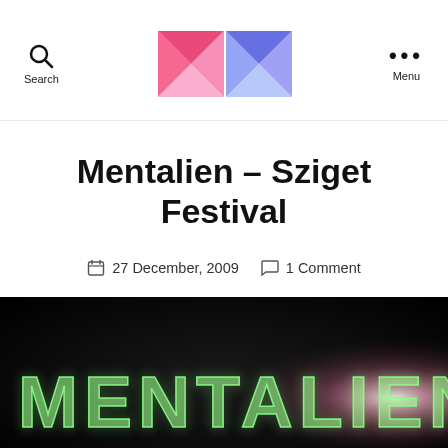Search | [MXG Logo] | Menu
Mentalien – Sziget Festival
27 December, 2009  1 Comment
[Figure (photo): Dark banner image with 'MENTALIEN' text in green glowing letters on a black background with a pinkish light flare on the right side.]